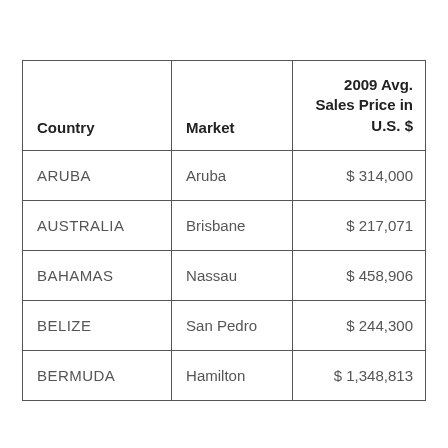| Country | Market | 2009 Avg. Sales Price in U.S. $ |
| --- | --- | --- |
| ARUBA | Aruba | $ 314,000 |
| AUSTRALIA | Brisbane | $ 217,071 |
| BAHAMAS | Nassau | $ 458,906 |
| BELIZE | San Pedro | $ 244,300 |
| BERMUDA | Hamilton | $ 1,348,813 |